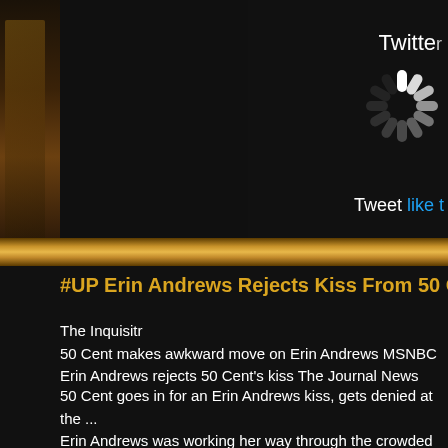[Figure (screenshot): Dark background with left side image strip showing gold/brown tones, top right Twitter widget area with spinner/loading icon and white label 'Twitter', below which shows 'Tweet like t...' text, a gold horizontal divider bar, then article content below]
#UP Erin Andrews Rejects Kiss From 50 Cent At Dayto...
The Inquisitr
50 Cent makes awkward move on Erin Andrews MSNBC
Erin Andrews rejects 50 Cent's kiss The Journal News
50 Cent goes in for an Erin Andrews kiss, gets denied at the ... Erin Andrews was working her way through the crowded pit ro... visitor; none other than 50 Cent himself, one of the